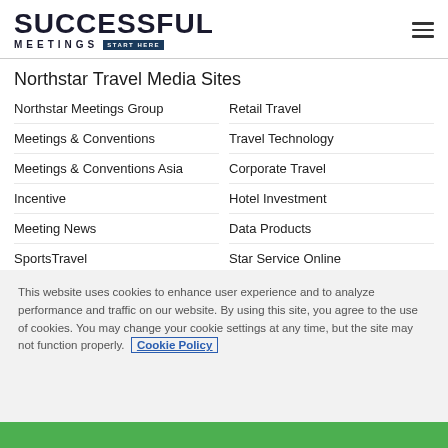SUCCESSFUL MEETINGS START HERE
Northstar Travel Media Sites
Northstar Meetings Group
Retail Travel
Meetings & Conventions
Travel Technology
Meetings & Conventions Asia
Corporate Travel
Incentive
Hotel Investment
Meeting News
Data Products
SportsTravel
Star Service Online
See all Northstar Brands
This website uses cookies to enhance user experience and to analyze performance and traffic on our website. By using this site, you agree to the use of cookies. You may change your cookie settings at any time, but the site may not function properly. Cookie Policy